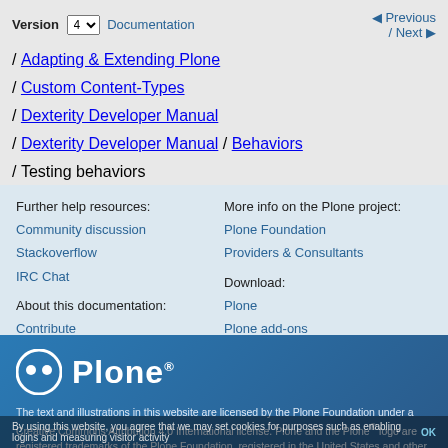Version 4 Documentation / Adapting & Extending Plone / Custom Content-Types / Dexterity Developer Manual / Dexterity Developer Manual / Behaviors / Testing behaviors
Previous / Next
Further help resources: Community discussion Stackoverflow IRC Chat About this documentation: Contribute These docs on Github
More info on the Plone project: Plone Foundation Providers & Consultants Download: Plone Plone add-ons
[Figure (logo): Plone logo: circle icon with two dots and Plone wordmark in white on blue background]
The text and illustrations in this website are licensed by the Plone Foundation under a Creative Commons Attribution 4.0 International license. Plone and the Plone® logo are registered trademarks of the Plone Foundation, registered in the United States and other countries. For guidelines on the permitted uses of the Plone trademark, see https://plone.org/foundation/logo All other trademarks are owned by their respective owners. Hosted
By using this website, you agree that we may set cookies for purposes such as enabling logins and measuring visitor activity  OK